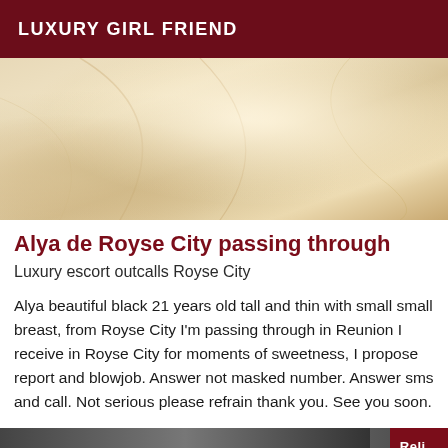LUXURY GIRL FRIEND
[Figure (photo): Soft beige/cream fabric texture with draped folds, close-up photo]
Alya de Royse City passing through
Luxury escort outcalls Royse City
Alya beautiful black 21 years old tall and thin with small small breast, from Royse City I'm passing through in Reunion I receive in Royse City for moments of sweetness, I propose report and blowjob. Answer not masked number. Answer sms and call. Not serious please refrain thank you. See you soon.
[Figure (photo): Partial dark photo at bottom of page with a dark red button partially visible at bottom right]